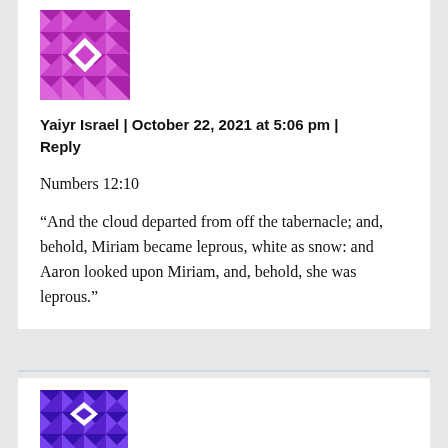[Figure (illustration): Purple geometric quilt-pattern avatar icon]
Yaiyr Israel | October 22, 2021 at 5:06 pm | Reply
Numbers 12:10
“And the cloud departed from off the tabernacle; and, behold, Miriam became leprous, white as snow: and Aaron looked upon Miriam, and, behold, she was leprous.”
[Figure (illustration): Blue/purple geometric quilt-pattern avatar icon]